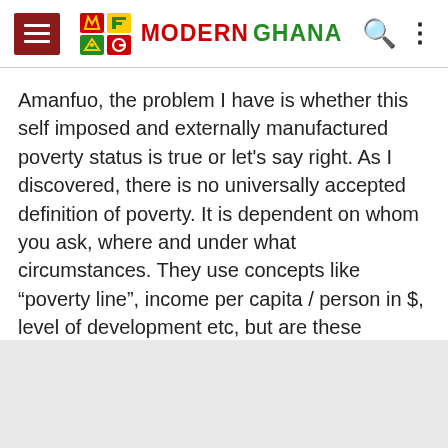Modern Ghana
Amanfuo, the problem I have is whether this self imposed and externally manufactured poverty status is true or let's say right. As I discovered, there is no universally accepted definition of poverty. It is dependent on whom you ask, where and under what circumstances. They use concepts like “poverty line”, income per capita / person in $, level of development etc, but are these relevant to our unique African or Ghanaian situation?